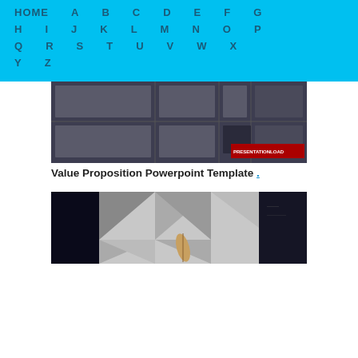HOME A B C D E F G H I J K L M N O P Q R S T U V W X Y Z
[Figure (screenshot): Dark thumbnail image of a Value Proposition Powerpoint Template with grid layout and PresentationLoad branding badge]
Value Proposition Powerpoint Template .
[Figure (screenshot): Dark thumbnail image of a presentation template with geometric triangular pattern and a feather/quill graphic]